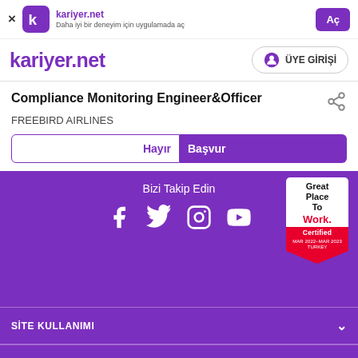kariyer.net — Daha iyi bir deneyim için uygulamada aç — Aç
kariyer.net
ÜYE GİRİŞİ
Compliance Monitoring Engineer&Officer
FREEBIRD AIRLINES
Bizi Takip Edin
[Figure (infographic): Great Place to Work Certified badge (MAR 2022 - MAR 2023, Turkey)]
SİTE KULLANIMI
VERİ POLİTİKAMIZ